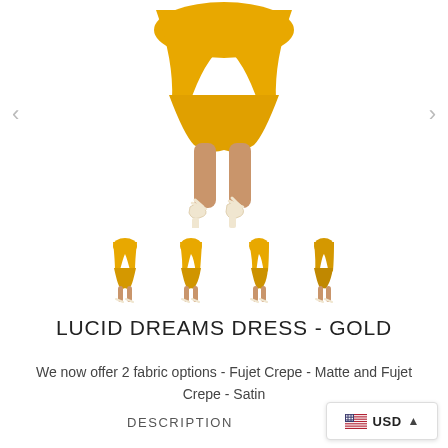[Figure (photo): Cropped photo of model wearing a gold/mustard short dress with white strappy heels, showing lower body and legs only. Navigation arrows on left and right.]
[Figure (photo): Four small thumbnail images of the same gold dress product shown from different angles.]
LUCID DREAMS DRESS - GOLD
We now offer 2 fabric options - Fujet Crepe - Matte and Fujet Crepe - Satin
DESCRIPTION
USD